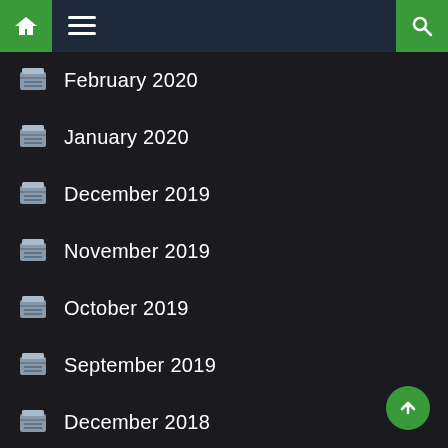Navigation bar with home, menu, and search icons
February 2020
January 2020
December 2019
November 2019
October 2019
September 2019
December 2018
July 2017